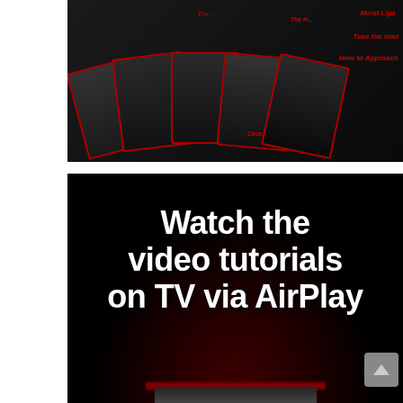[Figure (photo): A collage of dark-themed playing cards fanned out, each card showing a couple in an intimate pose, with red text labels on a dark background. Card labels visible include 'Moist Lips', 'Take the lead', 'How to Approach', and partial text on other cards.]
[Figure (photo): A dark promotional image with black background and red gradient glow at the bottom. Bold white text reads 'Watch the video tutorials on TV via AirPlay'. A device remote or Apple TV remote is partially visible at the bottom. A grey scroll-up button is in the bottom right corner.]